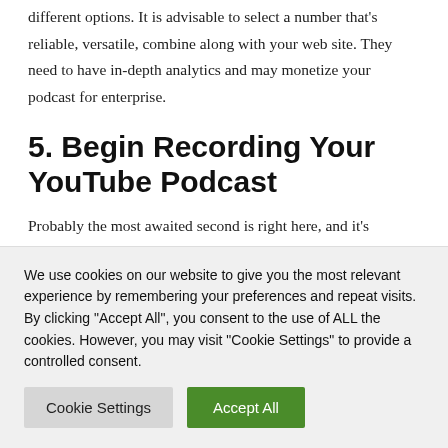different options. It is advisable to select a number that's reliable, versatile, combine along with your web site. They need to have in-depth analytics and may monetize your podcast for enterprise.
5. Begin Recording Your YouTube Podcast
Probably the most awaited second is right here, and it's important to give it your greatest. Plan what you're going to document by writing the phrases down. However while
We use cookies on our website to give you the most relevant experience by remembering your preferences and repeat visits. By clicking "Accept All", you consent to the use of ALL the cookies. However, you may visit "Cookie Settings" to provide a controlled consent.